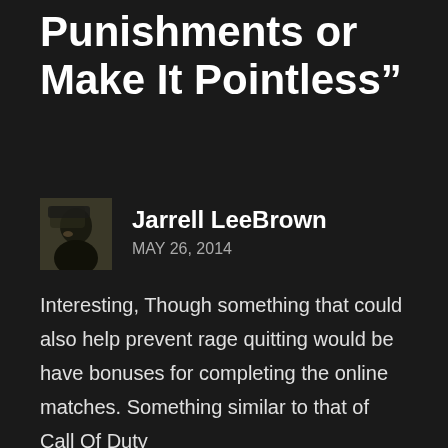Punishments or Make It Pointless”
Jarrell LeeBrown
MAY 26, 2014
Interesting, Though something that could also help prevent rage quitting would be have bonuses for completing the online matches. Something similar to that of Call Of Duty